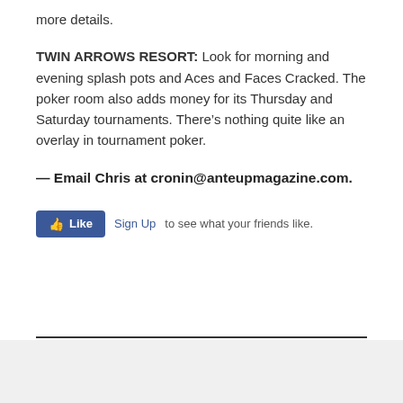more details.
TWIN ARROWS RESORT: Look for morning and evening splash pots and Aces and Faces Cracked. The poker room also adds money for its Thursday and Saturday tournaments. There's nothing quite like an overlay in tournament poker.
— Email Chris at cronin@anteupmagazine.com.
[Figure (other): Facebook Like button with Sign Up link and text 'to see what your friends like.']